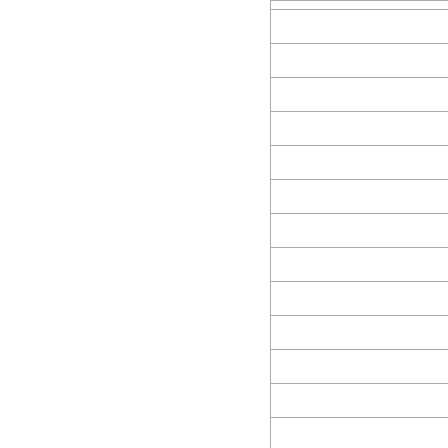| Date | Score | Icon1 | Num2 | Icon2 |
| --- | --- | --- | --- | --- |
| 5/29/2016 | 9 | GC | 6 | ball |
| 5/30/2016 | 6 | wiz | 9 | ball |
| 5/31/2016 | 16 | wiz | 13 | ball |
| 6/1/2016 | 1 | wiz | 10 | ball |
| 6/2/2016 | -2 | ball | 6 | GC |
| 6/3/2016 | 18 | ball | 23 | GC |
| 6/4/2016 | 9 | GC | 10 | ball |
| 6/5/2016 | 4 | GC | 11 | ball |
| 6/6/2016 | 2 | ball | 16 | fire |
| 6/7/2016 | 8 | ball | 11 | fire |
| 6/8/2016 | 7 | ball | 15 | fire |
| 6/10/2016 | 13 | OG | 12 | ball |
| 6/11/2016 | 14 | OG | 6 | ball |